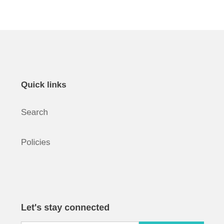Quick links
Search
Policies
Let's stay connected
Email address | SUBSCRIBE